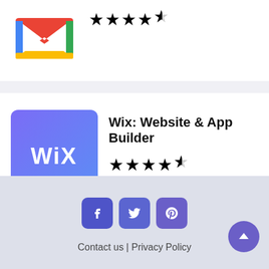[Figure (logo): Gmail M logo (partially visible at top)]
[Figure (other): Star rating 4.5 stars for Gmail]
[Figure (logo): Wix logo - purple/blue gradient square with WiX text in white]
Wix: Website & App Builder
[Figure (other): Star rating 4.5 stars for Wix]
Contact us | Privacy Policy